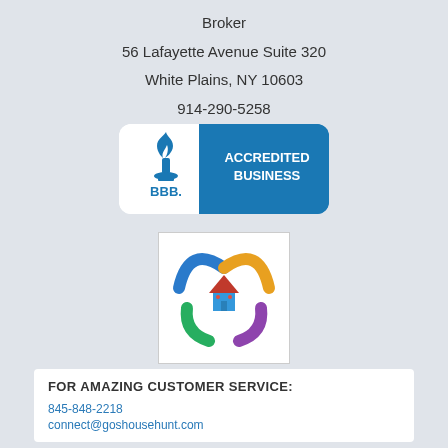Broker
56 Lafayette Avenue Suite 320
White Plains, NY 10603
914-290-5258
[Figure (logo): BBB Accredited Business badge with blue background and flame/torch logo on the left]
[Figure (logo): Colorful house logo with blue, orange, green, and purple hand-shaped figures surrounding a small house icon on white background]
FOR AMAZING CUSTOMER SERVICE:

845-848-2218
connect@goshousehunt.com